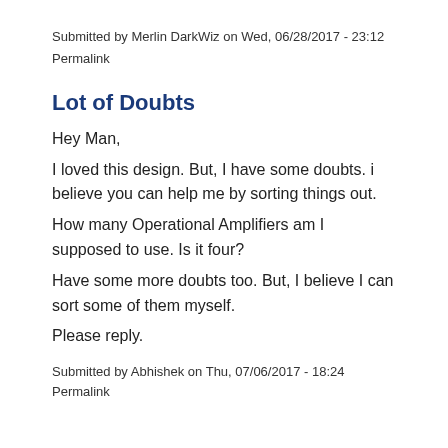Submitted by Merlin DarkWiz on Wed, 06/28/2017 - 23:12
Permalink
Lot of Doubts
Hey Man,
I loved this design. But, I have some doubts. i believe you can help me by sorting things out.
How many Operational Amplifiers am I supposed to use. Is it four?
Have some more doubts too. But, I believe I can sort some of them myself.
Please reply.
Submitted by Abhishek on Thu, 07/06/2017 - 18:24
Permalink